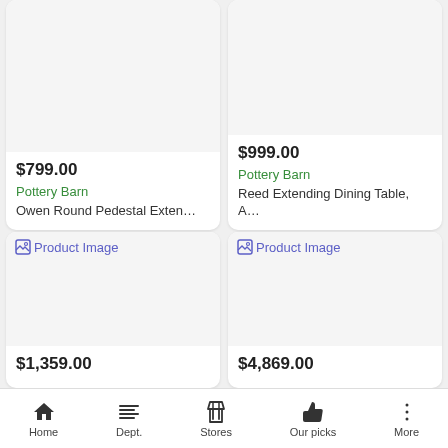[Figure (screenshot): Product card top-left with image area (cropped at top), price $799.00, retailer Pottery Barn, product Owen Round Pedestal Exten...]
[Figure (screenshot): Product card top-right with image area (cropped at top), price $999.00, retailer Pottery Barn, product Reed Extending Dining Table, A...]
[Figure (screenshot): Product card bottom-left with Product Image placeholder, price $1,359.00]
[Figure (screenshot): Product card bottom-right with Product Image placeholder, price $4,869.00]
Home   Dept.   Stores   Our picks   More